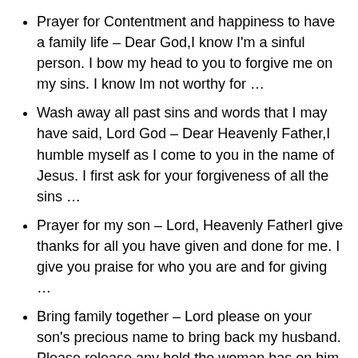Prayer for Contentment and happiness to have a family life – Dear God,I know I'm a sinful person. I bow my head to you to forgive me on my sins. I know Im not worthy for …
Wash away all past sins and words that I may have said, Lord God – Dear Heavenly Father,I humble myself as I come to you in the name of Jesus. I first ask for your forgiveness of all the sins …
Prayer for my son – Lord, Heavenly FatherI give thanks for all you have given and done for me. I give you praise for who you are and for giving …
Bring family together – Lord please on your son's precious name to bring back my husband. Please release any hold the woman has on him. We need him home. …
Please pray for me and my kids – I never done this and would love to post my request for prayers to me and my family. It seems as my family never seem …
Heavenly Father, we have tried to have a family discussion